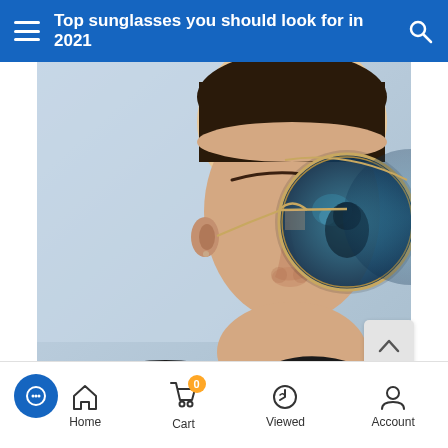Top sunglasses you should look for in 2021
[Figure (photo): Close-up photo of a young man wearing round blue-lens sunglasses with gold frames, against a light blue background, wearing a dark hoodie]
Home | Cart (0) | Viewed | Account